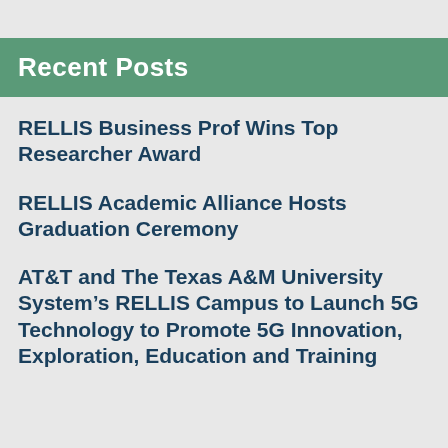Recent Posts
RELLIS Business Prof Wins Top Researcher Award
RELLIS Academic Alliance Hosts Graduation Ceremony
AT&T and The Texas A&M University System’s RELLIS Campus to Launch 5G Technology to Promote 5G Innovation, Exploration, Education and Training